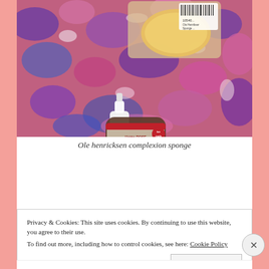[Figure (photo): Photo of beauty products on a colorful camouflage-patterned pink/purple/blue fabric background. A yellow sponge in clear packaging (Ole Henriksen Complexion Sponge with barcode visible) is at the top, and a dark bottle with red and white label for Dr. Bronner's Hemp Rose Pure-Castille Soap (Fair Trade) is in the foreground.]
Ole henricksen complexion sponge
Privacy & Cookies: This site uses cookies. By continuing to use this website, you agree to their use.
To find out more, including how to control cookies, see here: Cookie Policy